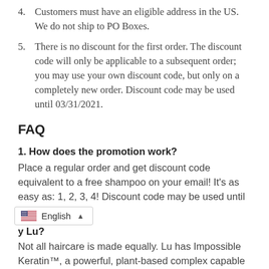4. Customers must have an eligible address in the US. We do not ship to PO Boxes.
5. There is no discount for the first order. The discount code will only be applicable to a subsequent order; you may use your own discount code, but only on a completely new order. Discount code may be used until 03/31/2021.
FAQ
1. How does the promotion work?
Place a regular order and get discount code equivalent to a free shampoo on your email! It's as easy as: 1, 2, 3, 4! Discount code may be used until 03/31/2021.
English
y Lu?
Not all haircare is made equally. Lu has Impossible Keratin™, a powerful, plant-based complex capable of